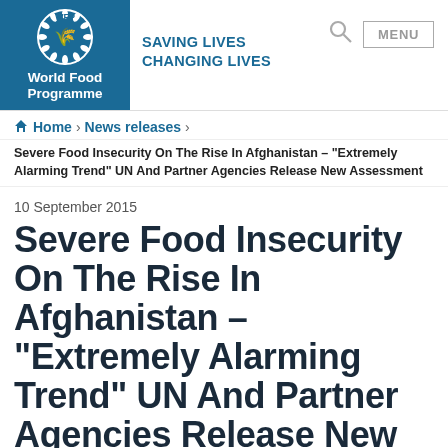WFP World Food Programme | SAVING LIVES CHANGING LIVES
Home › News releases ›
Severe Food Insecurity On The Rise In Afghanistan – "Extremely Alarming Trend" UN And Partner Agencies Release New Assessment
10 September 2015
Severe Food Insecurity On The Rise In Afghanistan – "Extremely Alarming Trend" UN And Partner Agencies Release New Assessment